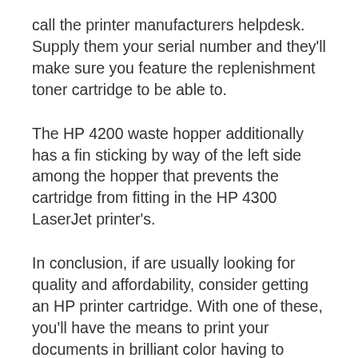call the printer manufacturers helpdesk. Supply them your serial number and they'll make sure you feature the replenishment toner cartridge to be able to.
The HP 4200 waste hopper additionally has a fin sticking by way of the left side among the hopper that prevents the cartridge from fitting in the HP 4300 LaserJet printer's.
In conclusion, if are usually looking for quality and affordability, consider getting an HP printer cartridge. With one of these, you'll have the means to print your documents in brilliant color having to break your finances.
Posted in Uncategorized  ·